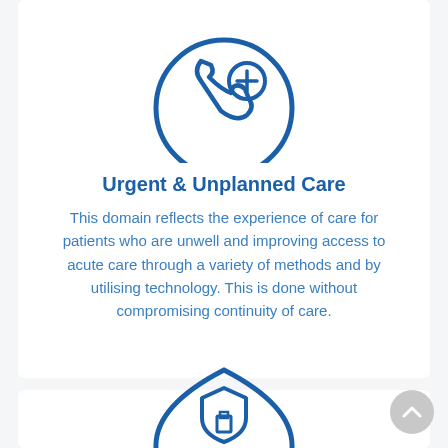[Figure (illustration): Circle icon with a phone handset and a plus symbol, drawn in blue outline style, partially cropped at top]
Urgent & Unplanned Care
This domain reflects the experience of care for patients who are unwell and improving access to acute care through a variety of methods and by utilising technology. This is done without compromising continuity of care.
[Figure (illustration): Circle icon with a shield/hospital building symbol, drawn in blue outline style, partially cropped at bottom]